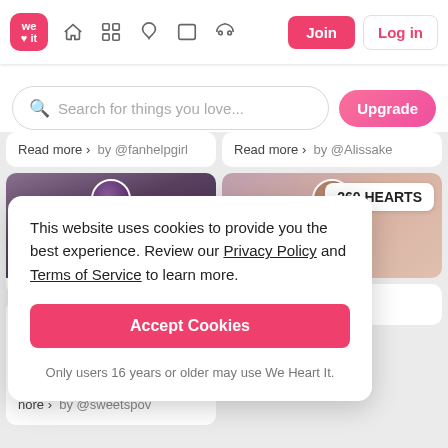We Heart It navigation bar with Join and Log in buttons
Search for things you love...
Read more › by @fanhelpgirl
Read more › by @Alissake
260 HEARTS
This website uses cookies to provide you the best experience. Review our Privacy Policy and Terms of Service to learn more.
Accept Cookies
Only users 16 years or older may use We Heart It.
rite lyrics position...
y little friends!! this is rticle on this account, i now how to do it right,
nore › by @sweetspov